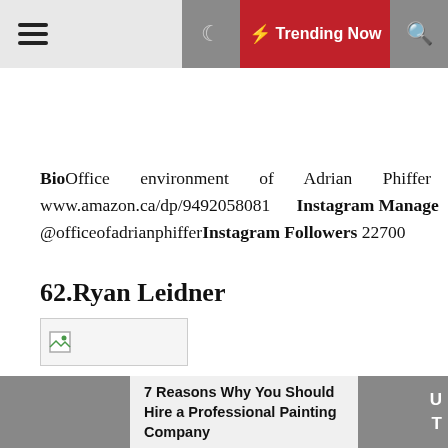≡  🌙  ⚡ Trending Now  🔍
BioOffice environment of Adrian Phiffer www.amazon.ca/dp/9492058081 Instagram Manage @officeofadrianphifferInstagram Followers 22700
62.Ryan Leidner
[Figure (other): Broken/missing image placeholder thumbnail]
7 Reasons Why You Should Hire a Professional Painting Company